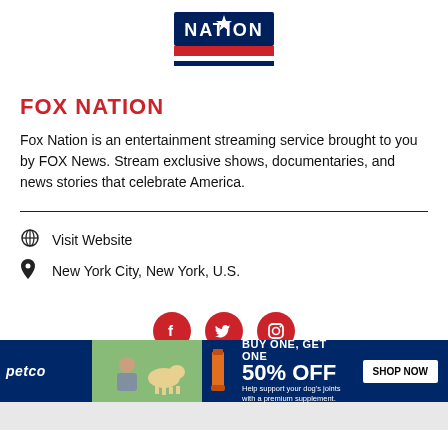[Figure (logo): Fox Nation logo with red, white, and blue horizontal stripe and star]
FOX NATION
Fox Nation is an entertainment streaming service brought to you by FOX News. Stream exclusive shows, documentaries, and news stories that celebrate America.
Visit Website
New York City, New York, U.S.
[Figure (infographic): Social media buttons: Facebook, Twitter, Instagram (red circles)]
[Figure (photo): Background photo showing military/camouflage scene]
[Figure (infographic): Petco advertisement: BUY ONE, GET ONE 50% OFF - Help support your dog's joints with a premium supplement. SHOP NOW button.]